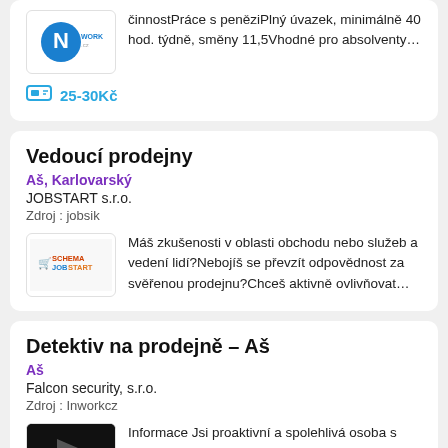[Figure (logo): NWORK.cz logo — blue circle with N]
činnostPráce s peněziPlný úvazek, minimálně 40 hod. týdně, směny 11,5Vhodné pro absolventy…
25-30Kč
Vedoucí prodejny
Aš, Karlovarský
JOBSTART s.r.o.
Zdroj : jobsik
[Figure (logo): SchemaJobStart logo]
Máš zkušenosti v oblasti obchodu nebo služeb a vedení lidí?Nebojíš se převzít odpovědnost za svěřenou prodejnu?Chceš aktivně ovlivňovat…
Detektiv na prodejně – Aš
Aš
Falcon security, s.r.o.
Zdroj : Inworkcz
[Figure (photo): Dark image thumbnail]
Informace Jsi proaktivní a spolehlivá osoba s